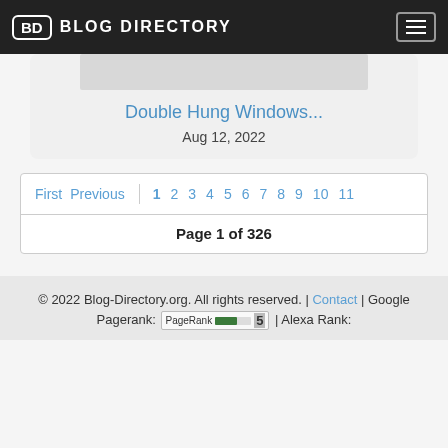BD BLOG DIRECTORY
Double Hung Windows...
Aug 12, 2022
First  Previous  1  2  3  4  5  6  7  8  9  10  11
Page 1 of 326
© 2022 Blog-Directory.org. All rights reserved. | Contact | Google Pagerank: PageRank 5 | Alexa Rank: